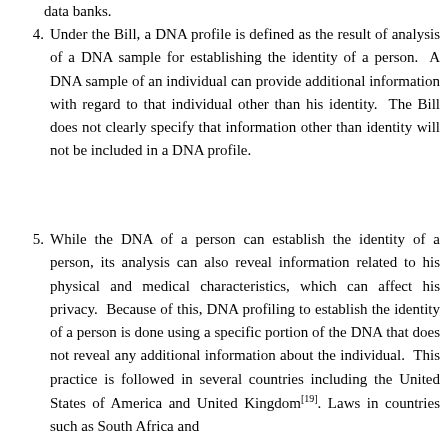data banks.
4. Under the Bill, a DNA profile is defined as the result of analysis of a DNA sample for establishing the identity of a person. A DNA sample of an individual can provide additional information with regard to that individual other than his identity. The Bill does not clearly specify that information other than identity will not be included in a DNA profile.
5. While the DNA of a person can establish the identity of a person, its analysis can also reveal information related to his physical and medical characteristics, which can affect his privacy. Because of this, DNA profiling to establish the identity of a person is done using a specific portion of the DNA that does not reveal any additional information about the individual. This practice is followed in several countries including the United States of America and United Kingdom[19]. Laws in countries such as South Africa and